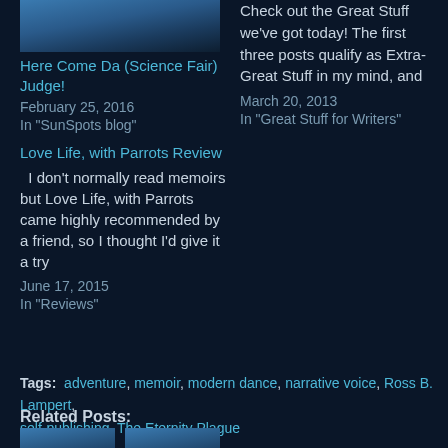[Figure (photo): Partial photo showing a person in a suit, blue-toned image, cropped]
Here Come Da (Science Fair) Judge!
February 25, 2016
In "SunSpots blog"
Check out the Great Stuff we've got today! The first three posts qualify as Extra-Great Stuff in my mind, and
March 20, 2013
In "Great Stuff for Writers"
Love Life, with Parrots Review
I don't normally read memoirs but Love Life, with Parrots came highly recommended by a friend, so I thought I'd give it a try
June 17, 2015
In "Reviews"
Tags:  adventure, memoir, modern dance, narrative voice, Ross B. Lampert, self-publishing, The Eternity Plague
Related Posts:
[Figure (photo): Thumbnail image placeholder 1]
[Figure (photo): Thumbnail image placeholder 2]